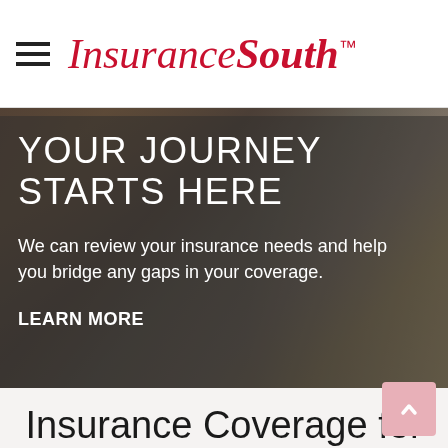InsuranceSouth™
[Figure (photo): Hero banner with dark overlay showing a person in an active setting. Semi-transparent dark gray overlay covers most of the image.]
YOUR JOURNEY STARTS HERE
We can review your insurance needs and help you bridge any gaps in your coverage.
LEARN MORE
Insurance Coverage for You